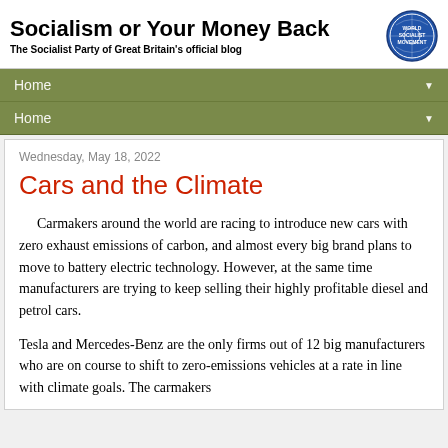Socialism or Your Money Back
The Socialist Party of Great Britain's official blog
Home
Home
Wednesday, May 18, 2022
Cars and the Climate
Carmakers around the world are racing to introduce new cars with zero exhaust emissions of carbon, and almost every big brand plans to move to battery electric technology. However, at the same time manufacturers are trying to keep selling their highly profitable diesel and petrol cars.
Tesla and Mercedes-Benz are the only firms out of 12 big manufacturers who are on course to shift to zero-emissions vehicles at a rate in line with climate goals. The carmakers